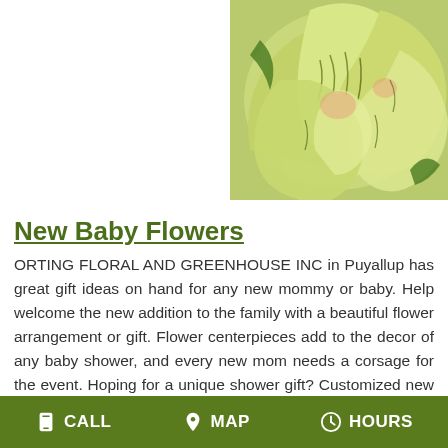[Figure (photo): Close-up photo of yellow-green tropical flowers (alstroemeria) with dark streaks on petals, filling the upper-right portion of the page.]
New Baby Flowers
ORTING FLORAL AND GREENHOUSE INC in Puyallup has great gift ideas on hand for any new mommy or baby. Help welcome the new addition to the family with a beautiful flower arrangement or gift. Flower centerpieces add to the decor of any baby shower, and every new mom needs a corsage for the event. Hoping for a unique shower gift? Customized new baby gift baskets are always a great way to let someone know you care. We will fill your new baby gift basket with gourmet snacks, bath products, fun jewelry and accessories, flowers, or stuffed animals that are sure to excite any new mommy. Top off
CALL   MAP   HOURS